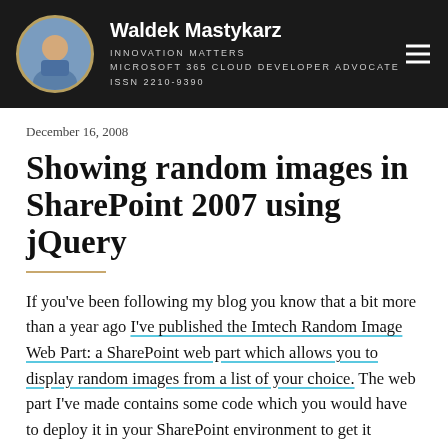Waldek Mastykarz | INNOVATION MATTERS | MICROSOFT 365 CLOUD DEVELOPER ADVOCATE | ISSN 2210-9390
December 16, 2008
Showing random images in SharePoint 2007 using jQuery
If you've been following my blog you know that a bit more than a year ago I've published the Imtech Random Image Web Part: a SharePoint web part which allows you to display random images from a list of your choice. The web part I've made contains some code which you would have to deploy it in your SharePoint environment to get it working. Did you actually know that you can create the